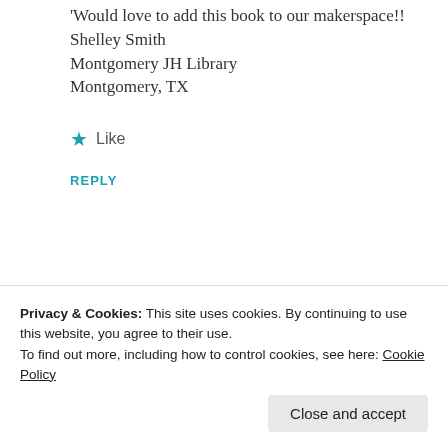'Would love to add this book to our makerspace!! Shelley Smith Montgomery JH Library Montgomery, TX
★ Like
REPLY
[Figure (screenshot): Partial screenshot of a food/recipe website showing food images on a light beige background with a circular avatar icon]
Privacy & Cookies: This site uses cookies. By continuing to use this website, you agree to their use. To find out more, including how to control cookies, see here: Cookie Policy
Close and accept